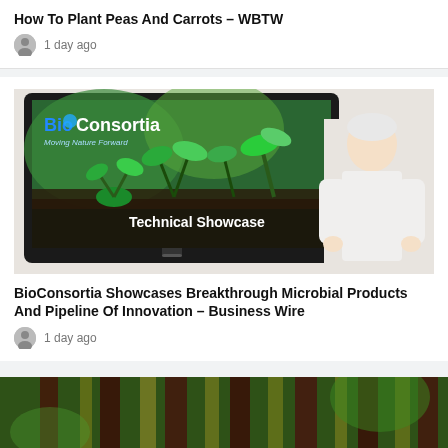How To Plant Peas And Carrots – WBTW
1 day ago
[Figure (photo): A man in a white shirt standing in front of a TV monitor displaying BioConsortia 'Moving Nature Forward' Technical Showcase branding with sprouting seedlings]
BioConsortia Showcases Breakthrough Microbial Products And Pipeline Of Innovation – Business Wire
1 day ago
[Figure (photo): Close-up photo of a dark reddish-brown and yellow striped flower or plant]